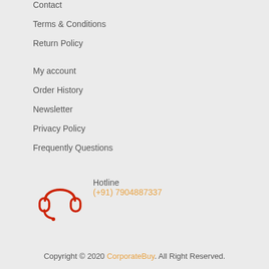Contact
Terms & Conditions
Return Policy
My account
Order History
Newsletter
Privacy Policy
Frequently Questions
[Figure (illustration): Red headset/headphones customer support icon]
Hotline
(+91) 7904887337
Copyright © 2020 CorporateBuy. All Right Reserved.